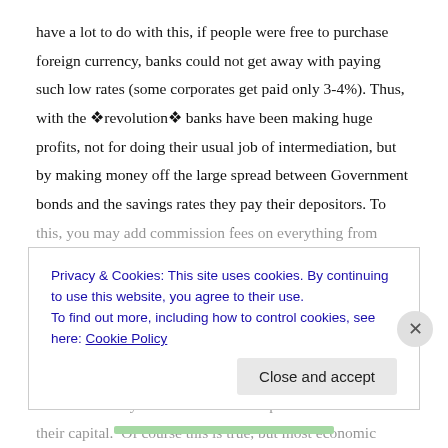have a lot to do with this, if people were free to purchase foreign currency, banks could not get away with paying such low rates (some corporates get paid only 3-4%). Thus, with the ❖revolution❖ banks have been making huge profits, not for doing their usual job of intermediation, but by making money off the large spread between Government bonds and the savings rates they pay their depositors. To this, you may add commission fees on everything from minimum balances, to Internet service, to checkbooks, to copies of your monthly statement. Bankers argue that they really are not making such huge amounts of money, since their capital base has been eroded by constant devaluations. In fact, many bankers argue that the profits they have made in the last four years do not even compensate for the loss of their capital.  Of course this is true, but most economic groups have lost their capital base with no other
Privacy & Cookies: This site uses cookies. By continuing to use this website, you agree to their use.
To find out more, including how to control cookies, see here: Cookie Policy